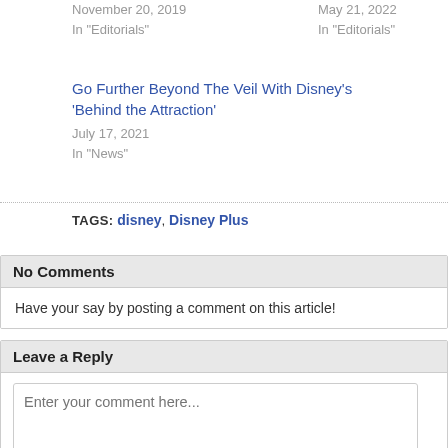November 20, 2019
In "Editorials"
May 21, 2022
In "Editorials"
Go Further Beyond The Veil With Disney's 'Behind the Attraction'
July 17, 2021
In "News"
TAGS: disney, Disney Plus
No Comments
Have your say by posting a comment on this article!
Leave a Reply
Enter your comment here...